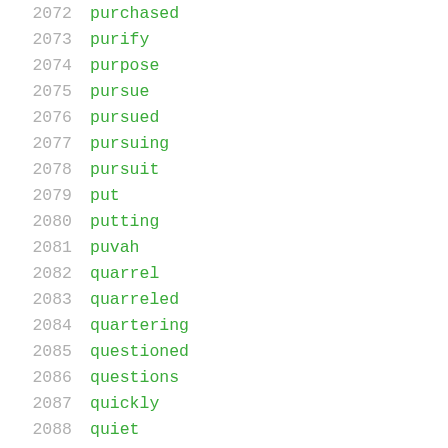2072  purchased
2073  purify
2074  purpose
2075  pursue
2076  pursued
2077  pursuing
2078  pursuit
2079  put
2080  putting
2081  puvah
2082  quarrel
2083  quarreled
2084  quartering
2085  questioned
2086  questions
2087  quickly
2088  quiet
2089  quiver
2090  ra'amah
2091  rachel
2092  rachel's
2093  raid